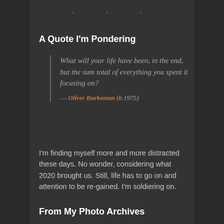A Quote I'm Pondering
What will your life have been, in the end, but the sum total of everything you spent it focusing on? — Oliver Burkeman (b.1975)
I'm finding myself more and more distracted these days. No wonder, considering what 2020 brought us. Still, life has to go on and attention to be re-gained. I'm soldiering on.
From My Photo Archives